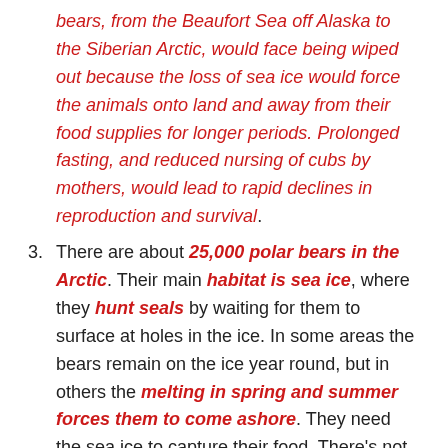bears, from the Beaufort Sea off Alaska to the Siberian Arctic, would face being wiped out because the loss of sea ice would force the animals onto land and away from their food supplies for longer periods. Prolonged fasting, and reduced nursing of cubs by mothers, would lead to rapid declines in reproduction and survival.
There are about 25,000 polar bears in the Arctic. Their main habitat is sea ice, where they hunt seals by waiting for them to surface at holes in the ice. In some areas the bears remain on the ice year round, but in others the melting in spring and summer forces them to come ashore. They need the sea ice to capture their food. There's not enough food on land to sustain a polar bear population. But bears can fast for months, (8 months). Arctic sea ice grows in the